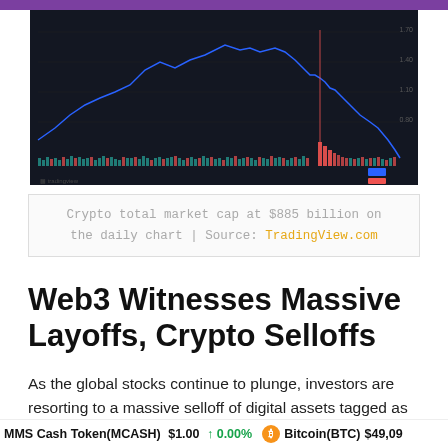[Figure (continuous-plot): Crypto total market cap chart on dark background showing price decline, with candlestick/line chart and volume bars in green and red. Sharp drop visible near the right side of the chart. TradingView watermark visible at bottom left.]
Crypto total market cap at $885 billion on the daily chart | Source: TradingView.com
Web3 Witnesses Massive Layoffs, Crypto Selloffs
As the global stocks continue to plunge, investors are resorting to a massive selloff of digital assets tagged as high-risk. With crypto winter, trillions of dollars were slashed from major cryptocurrencies, and the increased
MMS Cash Token(MCASH) $1.00 ↑ 0.00%   Bitcoin(BTC) $49,09...